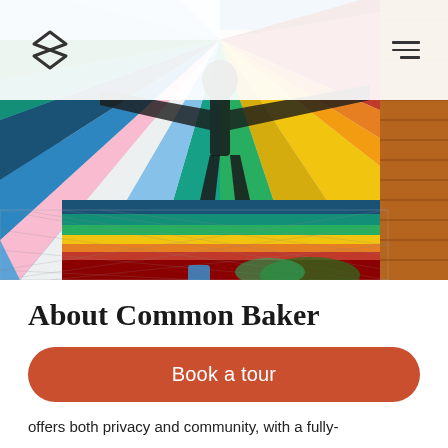[Figure (photo): A colorful mural painted on the side of a building, featuring a figure with outstretched arms and radiating rainbow-colored stripes. In the foreground is a chain-link fence with some greenery. A brick building is visible on the right. Blue sky in the background.]
About Common Baker
Book a tour
offers both privacy and community, with a fully-